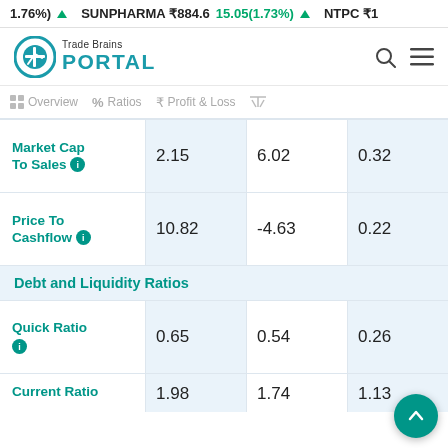1.76%) ▲ SUNPHARMA ₹884.6 15.05(1.73%) ▲ NTPC ₹1
[Figure (logo): Trade Brains Portal logo with teal circular chart icon]
|  | Col1 | Col2 | Col3 |
| --- | --- | --- | --- |
| Market Cap To Sales | 2.15 | 6.02 | 0.32 |
| Price To Cashflow | 10.82 | -4.63 | 0.22 |
Debt and Liquidity Ratios
|  | Col1 | Col2 | Col3 |
| --- | --- | --- | --- |
| Quick Ratio | 0.65 | 0.54 | 0.26 |
| Current Ratio | 1.98 | 1.74 | 1.13 |